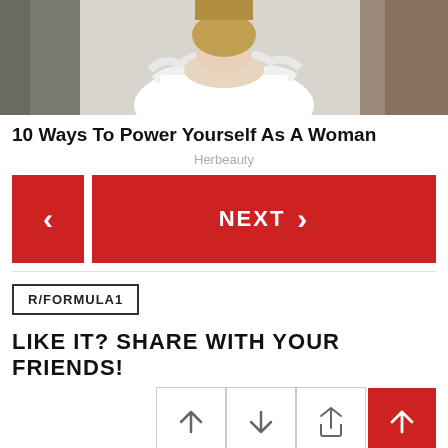[Figure (photo): Photo of a woman in a white ruffled top, shown from mid-torso up, in what appears to be a clothing store or wardrobe setting.]
10 Ways To Power Yourself As A Woman
Herbeauty
< NEXT >
R/FORMULA1
LIKE IT? SHARE WITH YOUR FRIENDS!